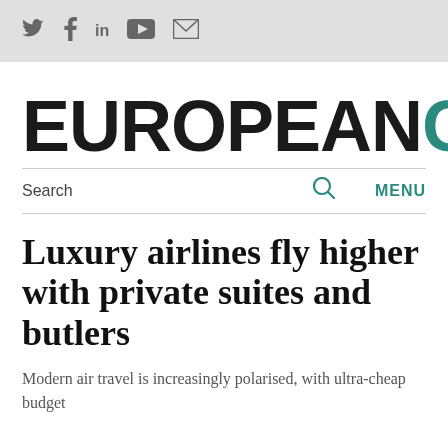Social icons: Twitter, Facebook, LinkedIn, YouTube, Email
[Figure (logo): European CEO logo — EUROPEAN in black bold sans-serif, CEO in teal bold sans-serif]
Search  🔍  MENU
Luxury airlines fly higher with private suites and butlers
Modern air travel is increasingly polarised, with ultra-cheap budget